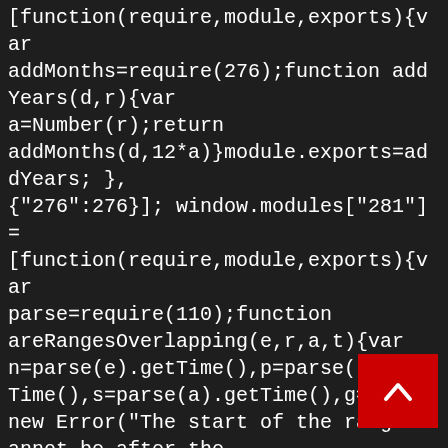[function(require,module,exports){var addMonths=require(276);function addYears(d,r){var a=Number(r);return addMonths(d,12*a)}module.exports=addYears; }, {"276":276}]; window.modules["281"] = [function(require,module,exports){var parse=require(110);function areRangesOverlapping(e,r,a,t){var n=parse(e).getTime(),p=parse(r).getTime(),s=parse(a).getTime(),g=pa new Error("The start of the range cannot be after the end of the range");return ns? 1:0}module.exports=compareAsc; }, {"110":110}]; window.modules["285"] = [function(require,module,exports){var parse=require(110);function compareDesc(e,r){var a=parse(e).getTime(),s=parse(r).getTime();return a>s? -1:a0? Math.floor(i):Math.ceil(i)}module.exports=differenceInHo }, {"299":299}]; window.modules["299"] = [function(require,module,exports){var parse=require(110);function differenceInMilliseconds(e,r){var
[Figure (other): Red back-to-top button with upward chevron arrow icon]